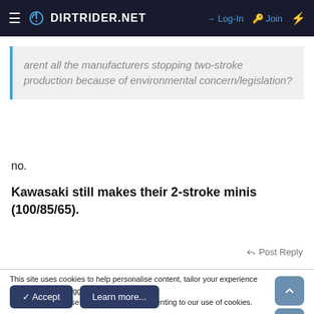DIRTRIDER.NET  →  Log-In   Join
arent all the manufacturers stopping two-stroke production because of environmental concern/legislation?
no.
Kawasaki still makes their 2-stroke minis (100/85/65).
Post Reply
This site uses cookies to help personalise content, tailor your experience and to keep you logged in if you register.
By continuing to use this site, you are consenting to our use of cookies.